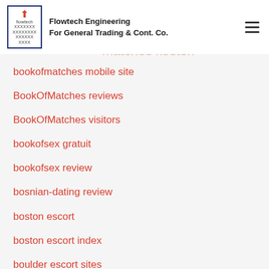Flowtech Engineering For General Trading & Cont. Co.
bookofmatches mobile site
BookOfMatches reviews
BookOfMatches visitors
bookofsex gratuit
bookofsex review
bosnian-dating review
boston escort
boston escort index
boulder escort sites
brazilcupid login
brides